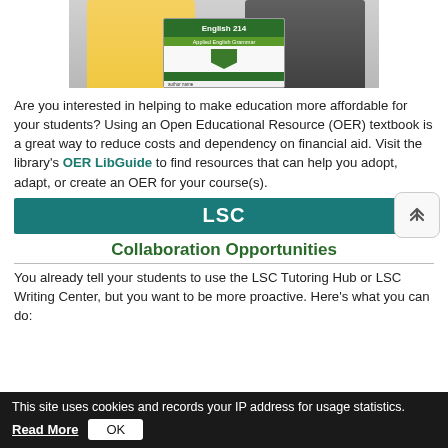[Figure (photo): Two people holding a textbook labeled 'English 214' with a green cover and shield logo]
Are you interested in helping to make education more affordable for your students? Using an Open Educational Resource (OER) textbook is a great way to reduce costs and dependency on financial aid. Visit the library's OER LibGuide to find resources that can help you adopt, adapt, or create an OER for your course(s).
LSC
Collaboration Opportunities
You already tell your students to use the LSC Tutoring Hub or LSC Writing Center, but you want to be more proactive. Here's what you can do:
This site uses cookies and records your IP address for usage statistics. Read More OK